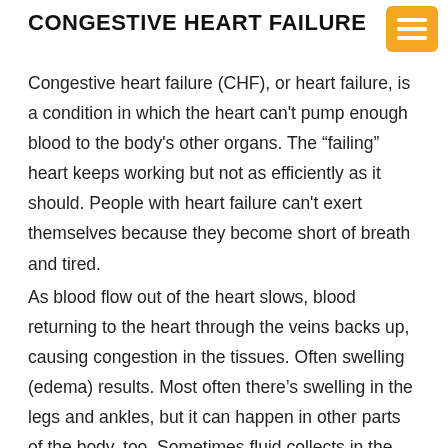CONGESTIVE HEART FAILURE
Congestive heart failure (CHF), or heart failure, is a condition in which the heart can't pump enough blood to the body's other organs. The “failing” heart keeps working but not as efficiently as it should. People with heart failure can't exert themselves because they become short of breath and tired.
As blood flow out of the heart slows, blood returning to the heart through the veins backs up, causing congestion in the tissues. Often swelling (edema) results. Most often there’s swelling in the legs and ankles, but it can happen in other parts of the body, too. Sometimes fluid collects in the lungs and interferes with breathing, causing shortness of breath, especially when a person is lying down.